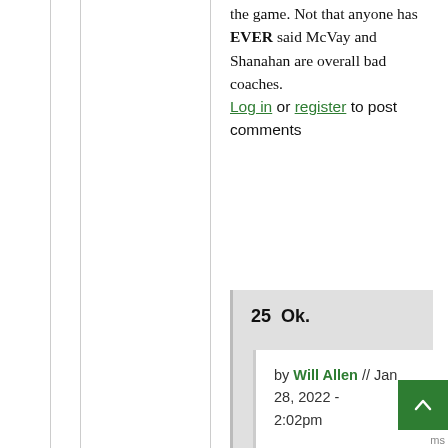the game. Not that anyone has EVER said McVay and Shanahan are overall bad coaches.
Log in or register to post comments
25  Ok.
by Will Allen // Jan 28, 2022 - 2:02pm
Ok.
Log in or register to post comments